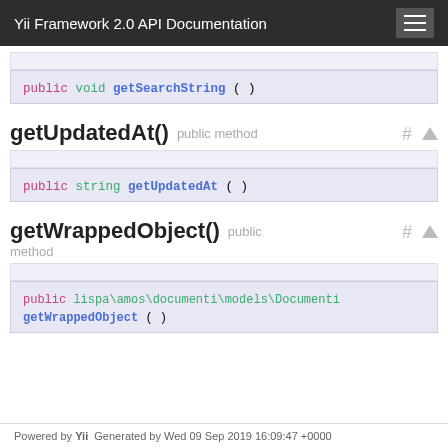Yii Framework 2.0 API Documentation
getUpdatedAt() public method
getWrappedObject() public method
Powered by Yii  Generated by Wed 09 Sep  2019 16:09:47 +0000